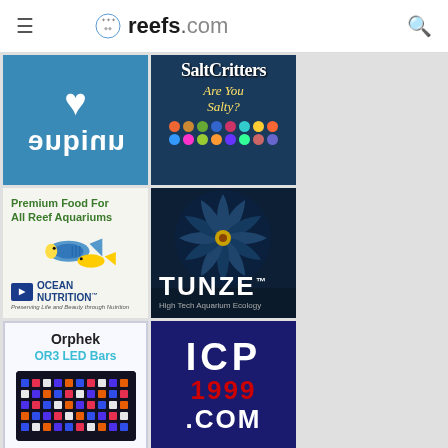[Figure (screenshot): reefs.com website header navigation bar with hamburger menu, reefs.com logo, and search icon]
[Figure (illustration): I Love Unique aquarium ad with blue background, white heart, and mirrored 'unique' text]
[Figure (illustration): SaltCritters 'Are You Salty?' advertisement with decorative coral dots]
[Figure (illustration): Ocean Nutrition 'Premium Food For All Reef Aquariums' advertisement with tropical fish]
[Figure (illustration): Tunze High Tech Aquarium Ecology advertisement with dark background and fan/turbine image]
[Figure (illustration): Orphek OR3 LED Bars advertisement with white background and LED bar image]
[Figure (illustration): ICP1999.COM advertisement with dark blue background and red/white text]